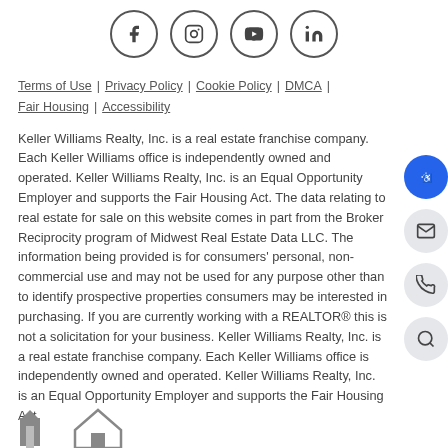[Figure (illustration): Social media icons in circles: Facebook, Instagram, YouTube, LinkedIn]
Terms of Use | Privacy Policy | Cookie Policy | DMCA | Fair Housing | Accessibility
Keller Williams Realty, Inc. is a real estate franchise company. Each Keller Williams office is independently owned and operated. Keller Williams Realty, Inc. is an Equal Opportunity Employer and supports the Fair Housing Act. The data relating to real estate for sale on this website comes in part from the Broker Reciprocity program of Midwest Real Estate Data LLC. The information being provided is for consumers' personal, non-commercial use and may not be used for any purpose other than to identify prospective properties consumers may be interested in purchasing. If you are currently working with a REALTOR® this is not a solicitation for your business. Keller Williams Realty, Inc. is a real estate franchise company. Each Keller Williams office is independently owned and operated. Keller Williams Realty, Inc. is an Equal Opportunity Employer and supports the Fair Housing Act.
[Figure (logo): Footer logos at bottom left]